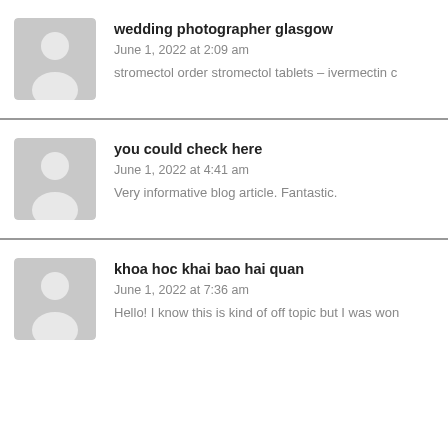[Figure (illustration): Generic grey avatar silhouette for comment 1]
wedding photographer glasgow
June 1, 2022 at 2:09 am
stromectol order stromectol tablets – ivermectin c
[Figure (illustration): Generic grey avatar silhouette for comment 2]
you could check here
June 1, 2022 at 4:41 am
Very informative blog article. Fantastic.
[Figure (illustration): Generic grey avatar silhouette for comment 3]
khoa hoc khai bao hai quan
June 1, 2022 at 7:36 am
Hello! I know this is kind of off topic but I was won